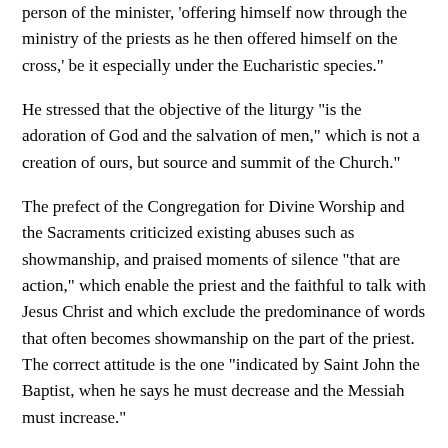person of the minister, 'offering himself now through the ministry of the priests as he then offered himself on the cross,' be it especially under the Eucharistic species."
He stressed that the objective of the liturgy "is the adoration of God and the salvation of men," which is not a creation of ours, but source and summit of the Church."
The prefect of the Congregation for Divine Worship and the Sacraments criticized existing abuses such as showmanship, and praised moments of silence "that are action," which enable the priest and the faithful to talk with Jesus Christ and which exclude the predominance of words that often becomes showmanship on the part of the priest. The correct attitude is the one "indicated by Saint John the Baptist, when he says he must decrease and the Messiah must increase."
The cardinal criticized the effort to make the Mass "entertaining" with certain songs, — instead of focusing on the